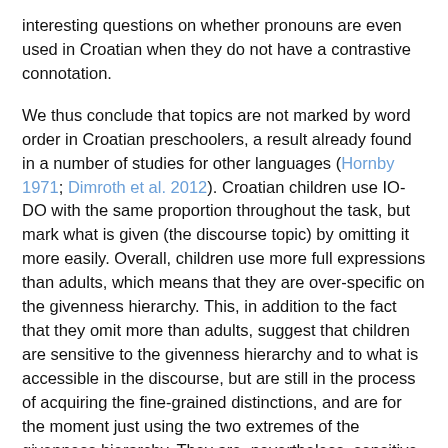interesting questions on whether pronouns are even used in Croatian when they do not have a contrastive connotation.
We thus conclude that topics are not marked by word order in Croatian preschoolers, a result already found in a number of studies for other languages (Hornby 1971; Dimroth et al. 2012). Croatian children use IO-DO with the same proportion throughout the task, but mark what is given (the discourse topic) by omitting it more easily. Overall, children use more full expressions than adults, which means that they are over-specific on the givenness hierarchy. This, in addition to the fact that they omit more than adults, suggest that children are sensitive to the givenness hierarchy and to what is accessible in the discourse, but are still in the process of acquiring the fine-grained distinctions, and are for the moment just using the two extremes of the givenness hierarchy. They are, nevertheless, sensitive to the various referring expressions that can be used for different arguments, as they follow the same reduction pattern as the adult controls. Therefore, the effect of discourse topic and the